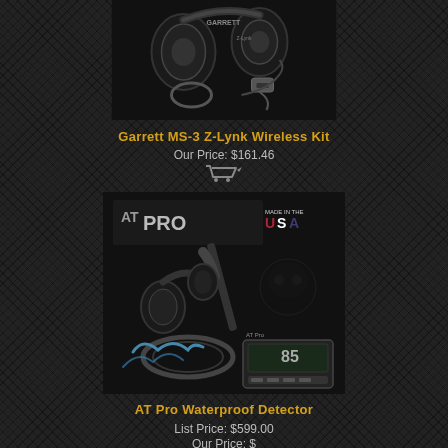[Figure (photo): Garrett MS-3 Z-Lynk Wireless Kit product photo showing headphones, USB connector, cable, and ring/seal on dark background]
Garrett MS-3 Z-Lynk Wireless Kit
Our Price: $161.46
[Figure (photo): AT Pro Waterproof Detector product photo showing metal detector with headphones, AT Pro logo, Made in the USA badge, and detector control unit]
AT Pro Waterproof Detector
List Price: $599.00
Our Price: $???